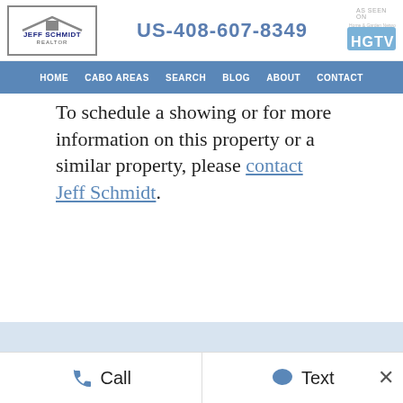JEFF SCHMIDT REALTOR | US-408-607-8349 | AS SEEN ON HGTV
HOME  CABO AREAS  SEARCH  BLOG  ABOUT  CONTACT
To schedule a showing or for more information on this property or a similar property, please contact Jeff Schmidt.
Call  Text  ×